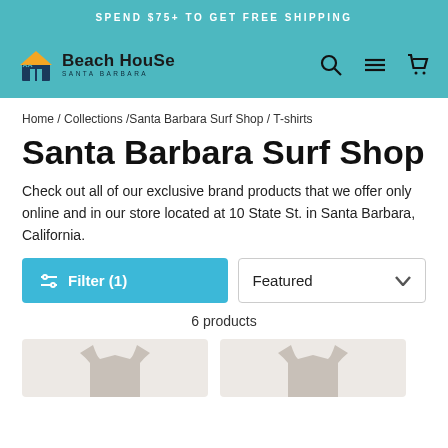SPEND $75+ TO GET FREE SHIPPING
[Figure (logo): Beach House Santa Barbara logo with building icon and text]
Home / Collections /Santa Barbara Surf Shop / T-shirts
Santa Barbara Surf Shop
Check out all of our exclusive brand products that we offer only online and in our store located at 10 State St. in Santa Barbara, California.
Filter (1)
Featured
6 products
[Figure (photo): Two product thumbnail images showing t-shirts partially visible at bottom of page]